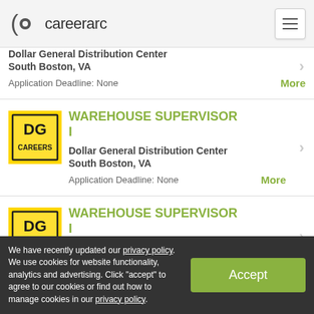careerarc
Dollar General Distribution Center
South Boston, VA
Application Deadline: None
WAREHOUSE SUPERVISOR I — Dollar General Distribution Center, South Boston, VA — Application Deadline: None
WAREHOUSE SUPERVISOR I — Dollar General Distribution Center, South Boston, VA
We have recently updated our privacy policy. We use cookies for website functionality, analytics and advertising. Click "accept" to agree to our cookies or find out how to manage cookies in our privacy policy.